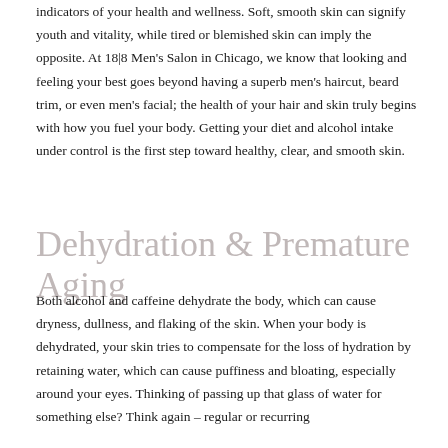indicators of your health and wellness. Soft, smooth skin can signify youth and vitality, while tired or blemished skin can imply the opposite. At 18|8 Men's Salon in Chicago, we know that looking and feeling your best goes beyond having a superb men's haircut, beard trim, or even men's facial; the health of your hair and skin truly begins with how you fuel your body. Getting your diet and alcohol intake under control is the first step toward healthy, clear, and smooth skin.
Dehydration & Premature Aging
Both alcohol and caffeine dehydrate the body, which can cause dryness, dullness, and flaking of the skin. When your body is dehydrated, your skin tries to compensate for the loss of hydration by retaining water, which can cause puffiness and bloating, especially around your eyes. Thinking of passing up that glass of water for something else? Think again – regular or recurring